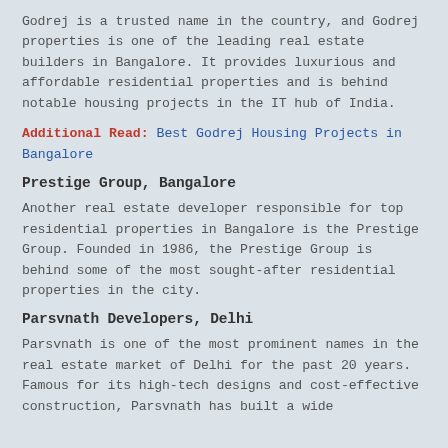Godrej is a trusted name in the country, and Godrej properties is one of the leading real estate builders in Bangalore. It provides luxurious and affordable residential properties and is behind notable housing projects in the IT hub of India.
Additional Read: Best Godrej Housing Projects in Bangalore
Prestige Group, Bangalore
Another real estate developer responsible for top residential properties in Bangalore is the Prestige Group. Founded in 1986, the Prestige Group is behind some of the most sought-after residential properties in the city.
Parsvnath Developers, Delhi
Parsvnath is one of the most prominent names in the real estate market of Delhi for the past 20 years. Famous for its high-tech designs and cost-effective construction, Parsvnath has built a wide